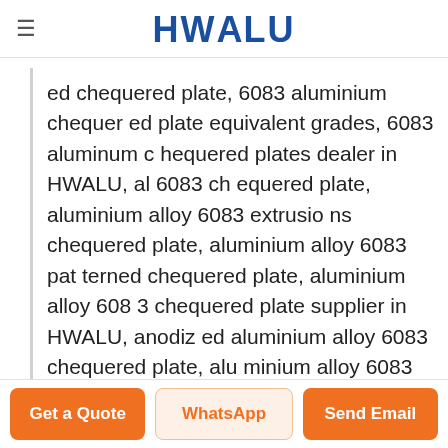HWALU
ed chequered plate, 6083 aluminium chequered plate equivalent grades, 6083 aluminum chequered plates dealer in HWALU, al 6083 chequered plate, aluminium alloy 6083 extrusions chequered plate, aluminium alloy 6083 patterned chequered plate, aluminium alloy 6083 chequered plate supplier in HWALU, anodized aluminium alloy 6083 chequered plate, aluminium alloy 6083 chequered plate and chequered plate exporter in mumbai, aluminium alloy 6083 chequered plate and chequered plate chemical composition, aluminium alloy 6083 chequered plate tensile aluminium 6083 chequered plate
Get a Quote | WhatsApp | Send Email